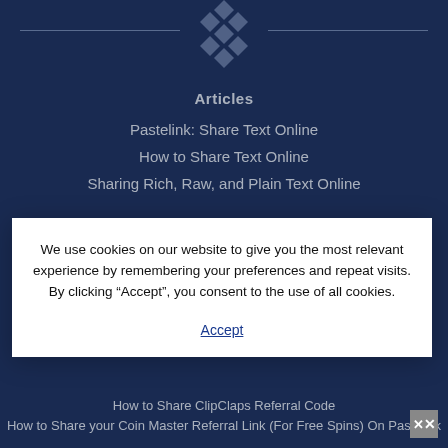[Figure (logo): Diamond pattern logo with horizontal decorative lines on either side]
Articles
Pastelink: Share Text Online
How to Share Text Online
Sharing Rich, Raw, and Plain Text Online
We use cookies on our website to give you the most relevant experience by remembering your preferences and repeat visits. By clicking “Accept”, you consent to the use of all cookies.
Accept
How to Share ClipClaps Referral Code
How to Share your Coin Master Referral Link (For Free Spins) On Pastelink
Sharing Links on Facebook [Updated 2021]